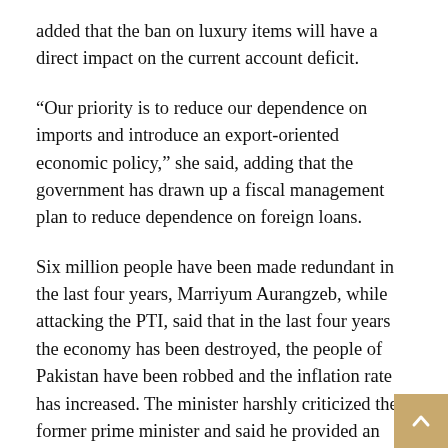added that the ban on luxury items will have a direct impact on the current account deficit.
“Our priority is to reduce our dependence on imports and introduce an export-oriented economic policy,” she said, adding that the government has drawn up a fiscal management plan to reduce dependence on foreign loans.
Six million people have been made redundant in the last four years, Marriyum Aurangzeb, while attacking the PTI, said that in the last four years the economy has been destroyed, the people of Pakistan have been robbed and the inflation rate has increased. The minister harshly criticized the former prime minister and said he provided an unfunded fuel subsidy, played with the economy and created problems for the new government.
She maintained that only the current government could pull the country out of the current economic crisis. The Prime Minister is working to reduce inflation, but such decisions require round-